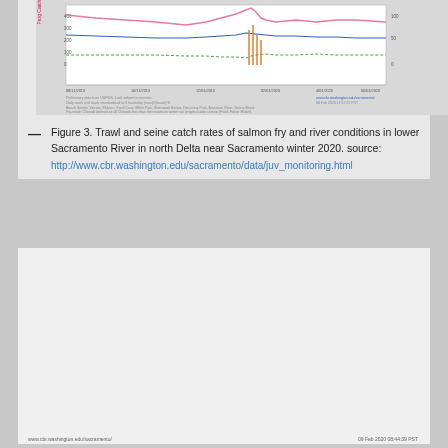[Figure (continuous-plot): Top chart showing trawl and seine catch rates of salmon fry and river conditions in lower Sacramento River, north Delta near Sacramento, winter 2020. Multi-line time-series chart with colored lines for different stations/metrics, x-axis showing dates from 08/11/2019 to 04/01/2020, with various colored lines (pink, blue, green, orange) and bar overlays. Includes source note and station labels at bottom.]
Figure 3. Trawl and seine catch rates of salmon fry and river conditions in lower Sacramento River in north Delta near Sacramento winter 2020. source: http://www.cbr.washington.edu/sacramento/data/juv_monitoring.html
[Figure (continuous-plot): Flow 2020 multi-line chart showing river flow (CFS) over time from 01/01 to 03/06. Multiple colored lines representing APO, BND, TFT, GRL, KWK, RIP, VBU, VON, WLK stations. Y-axis 0 to 25000 CFS. Notable features: Delta inflow peaks around 25000, Lower Sac River around 20000, Dam releases clustered near bottom 0-2500. X-axis dates: 01/01, 02/08, 01/23, 01/22, 02/25, 02/08. Footer: www.cbr.washington.edu/sacramento/ and 09 Feb 2020 08:44:39 PST]